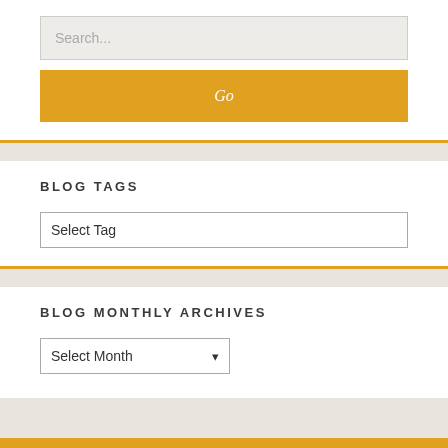Search...
Go
BLOG TAGS
Select Tag
BLOG MONTHLY ARCHIVES
Select Month